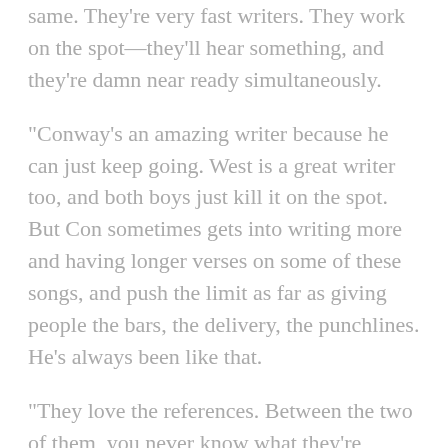same. They're very fast writers. They work on the spot—they'll hear something, and they're damn near ready simultaneously.
“Conway’s an amazing writer because he can just keep going. West is a great writer too, and both boys just kill it on the spot. But Con sometimes gets into writing more and having longer verses on some of these songs, and push the limit as far as giving people the bars, the delivery, the punchlines. He’s always been like that.
“They love the references. Between the two of them, you never know what they’re gonna say. There’s always some fresh references that they’re thinking of at all times, so it’s like, how are they gonna fly ‘em.
“I wouldn’t say they’re competitive, but they do like a